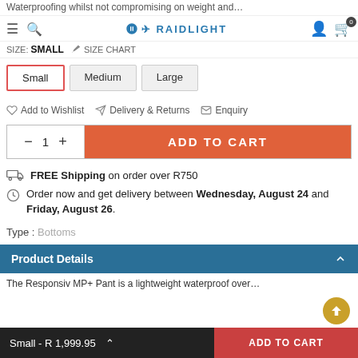Waterproofing whilst not compromising on weight and…
Raidlight — SIZE: SMALL | SIZE CHART
Small  Medium  Large
Add to Wishlist   Delivery & Returns   Enquiry
− 1 +   ADD TO CART
FREE Shipping on order over R750
Order now and get delivery between Wednesday, August 24 and Friday, August 26.
Type : Bottoms
Product Details
The Responsiv MP+ Pant is a lightweight waterproof over…
Small - R 1,999.95   ADD TO CART